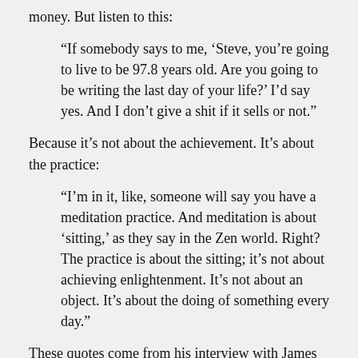money. But listen to this:
“If somebody says to me, ‘Steve, you’re going to live to be 97.8 years old. Are you going to be writing the last day of your life?’ I’d say yes. And I don’t give a shit if it sells or not.”
Because it’s not about the achievement. It’s about the practice:
“I’m in it, like, someone will say you have a meditation practice. And meditation is about ‘sitting,’ as they say in the Zen world. Right? The practice is about the sitting; it’s not about achieving enlightenment. It’s not about an object. It’s about the doing of something every day.”
These quotes come from his interview with James Altucher, host of one of my favorite podcasts, The James Altucher Show. It took Altucher two years to